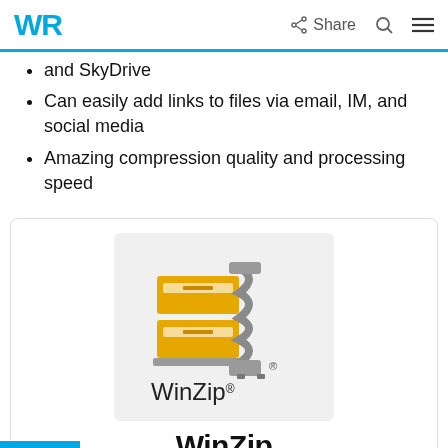WR | Share
and SkyDrive
Can easily add links to files via email, IM, and social media
Amazing compression quality and processing speed
[Figure (logo): WinZip logo: golden filing cabinet icon with zipper and registered trademark symbol, text WinZip below]
WinZip